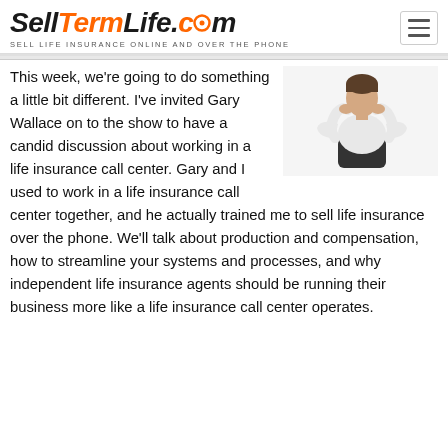SellTermLife.com — SELL LIFE INSURANCE ONLINE AND OVER THE PHONE
[Figure (photo): Person sitting in office chair viewed from behind with hands behind head, relaxed posture, white background]
This week, we're going to do something a little bit different. I've invited Gary Wallace on to the show to have a candid discussion about working in a life insurance call center. Gary and I used to work in a life insurance call center together, and he actually trained me to sell life insurance over the phone. We'll talk about production and compensation, how to streamline your systems and processes, and why independent life insurance agents should be running their business more like a life insurance call center operates.